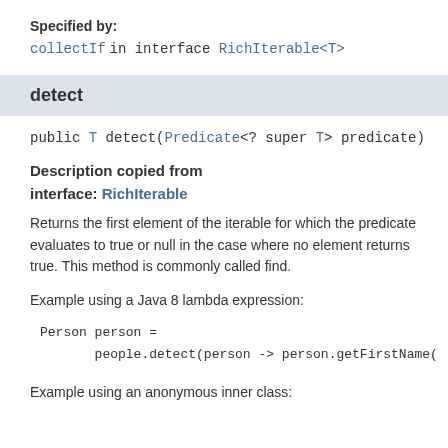Specified by:
collectIf in interface RichIterable<T>
detect
public T detect(Predicate<? super T> predicate)
Description copied from interface: RichIterable
Returns the first element of the iterable for which the predicate evaluates to true or null in the case where no element returns true. This method is commonly called find.
Example using a Java 8 lambda expression:
Person person =
        people.detect(person -> person.getFirstName(
Example using an anonymous inner class: